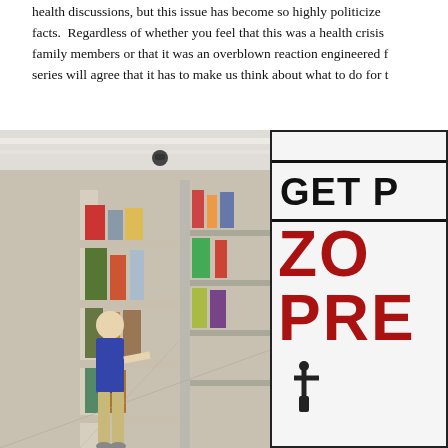health discussions, but this issue has become so highly politicized facts.  Regardless of whether you feel that this was a health crisis family members or that it was an overblown reaction engineered f series will agree that it has to make us think about what to do for t
[Figure (photo): Left: Photo of a person shopping in a retail store aisle with shelves stocked with various merchandise and home goods. Right: A sign with bold text reading 'GET P' in black and 'ZO' and 'PRE' in large red letters, partially cropped, with a small icon at the bottom.]